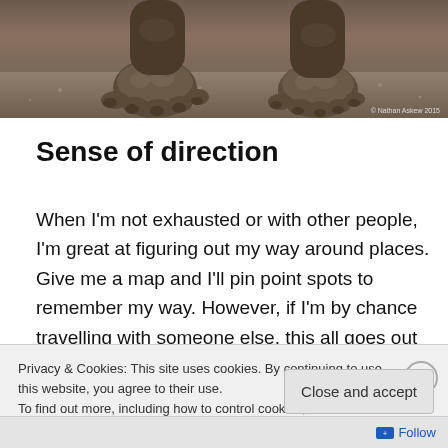[Figure (photo): Close-up photograph of a tortoise foot/leg on sandy ground. Photo credit: © Nathan Askew 2015]
Sense of direction
When I'm not exhausted or with other people, I'm great at figuring out my way around places. Give me a map and I'll pin point spots to remember my way. However, if I'm by chance travelling with someone else, this all goes out the window. Because I have someone to help it means I let go
Privacy & Cookies: This site uses cookies. By continuing to use this website, you agree to their use.
To find out more, including how to control cookies, see here: Cookie Policy